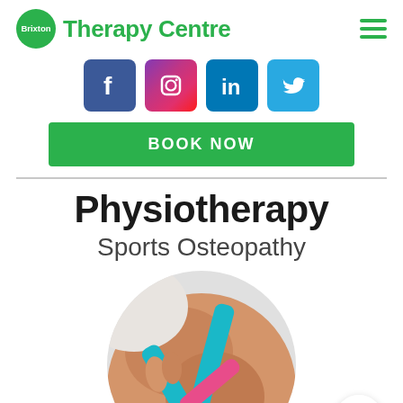[Figure (logo): Brixton Therapy Centre logo with green circle and hamburger menu icon]
[Figure (infographic): Row of four social media icons: Facebook (blue), Instagram (pink/purple gradient), LinkedIn (blue), Twitter (light blue)]
BOOK NOW
Physiotherapy
Sports Osteopathy
[Figure (photo): Circular photo of a person's knee with blue and pink kinesiology tape applied, therapist hands visible]